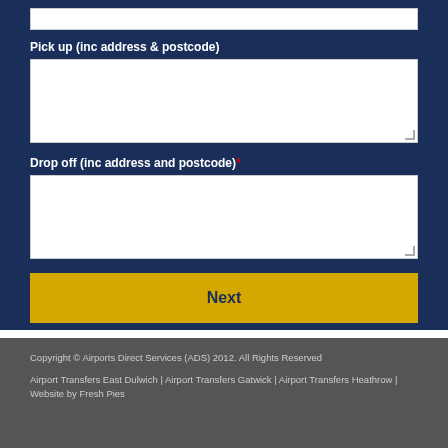Pick up (inc address & postcode)
[Figure (screenshot): White textarea input box for pick up address]
Drop off (inc address and postcode) *
[Figure (screenshot): White textarea input box for drop off address]
Next
Copyright © Airports Direct Services (ADS) 2012. All Rights Reserved
Airport Transfers East Dulwich | Airport Transfers Gatwick | Airport Transfers Heathrow | Website by Fresh Pies